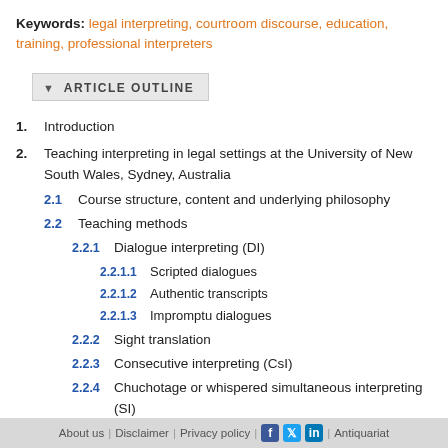Keywords: legal interpreting, courtroom discourse, education, training, professional interpreters
▼ ARTICLE OUTLINE
1. Introduction
2. Teaching interpreting in legal settings at the University of New South Wales, Sydney, Australia
2.1 Course structure, content and underlying philosophy
2.2 Teaching methods
2.2.1 Dialogue interpreting (DI)
2.2.1.1 Scripted dialogues
2.2.1.2 Authentic transcripts
2.2.1.3 Impromptu dialogues
2.2.2 Sight translation
2.2.3 Consecutive interpreting (CsI)
2.2.4 Chuchotage or whispered simultaneous interpreting (SI)
2.2.5 Court observation
About us | Disclaimer | Privacy policy | [Facebook] [Twitter] [LinkedIn] | Antiquariat